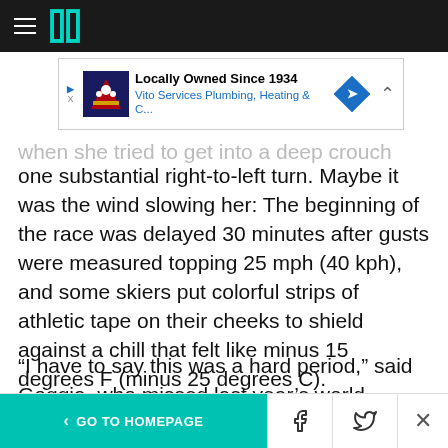HuffPost navigation bar with hamburger menu and logo
[Figure (other): Advertisement banner: Locally Owned Since 1934 - Vito Services Plumbing, Heating & C...]
...when she tried to get into a deep crouch during one substantial right-to-left turn. Maybe it was the wind slowing her: The beginning of the race was delayed 30 minutes after gusts were measured topping 25 mph (40 kph), and some skiers put colorful strips of athletic tape on their cheeks to shield against a chill that felt like minus 15 degrees F (minus 25 degrees C).
“I have to say this was a hard period,” said Goggia, who missed last year’s world
< GO TO HOMEPAGE | Facebook | Twitter | X